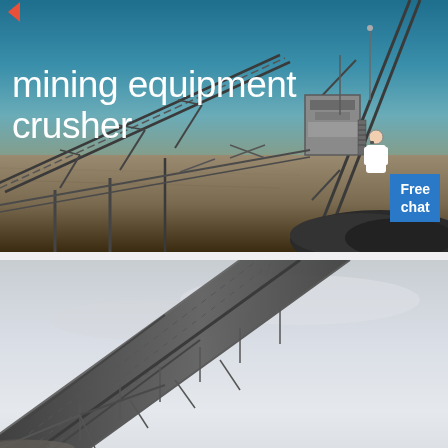[Figure (photo): Mining equipment conveyor belts and crusher machinery at an open-air mining site against a blue sky. Multiple steel conveyor belt structures visible along with a pile of crushed rock/aggregate.]
mining equipment crusher
[Figure (photo): Close-up of a conveyor belt structure at a mining or quarry site, angled diagonally, with a pale overcast sky in the background.]